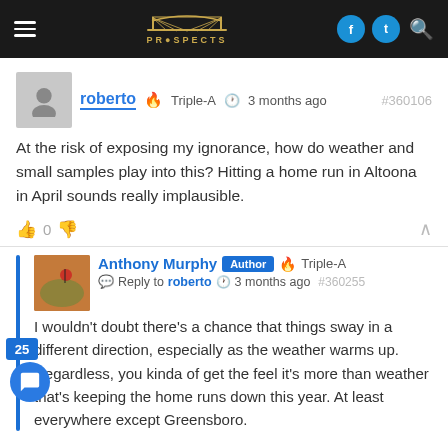Prospects navigation bar with logo, hamburger menu, and social icons
roberto 🔥 Triple-A  3 months ago  #360106
At the risk of exposing my ignorance, how do weather and small samples play into this? Hitting a home run in Altoona in April sounds really implausible.
👍 0 👎
Anthony Murphy  Author  🔥 Triple-A  Reply to roberto  3 months ago  #360255
I wouldn't doubt there's a chance that things sway in a different direction, especially as the weather warms up. Regardless, you kinda of get the feel it's more than weather that's keeping the home runs down this year. At least everywhere except Greensboro.